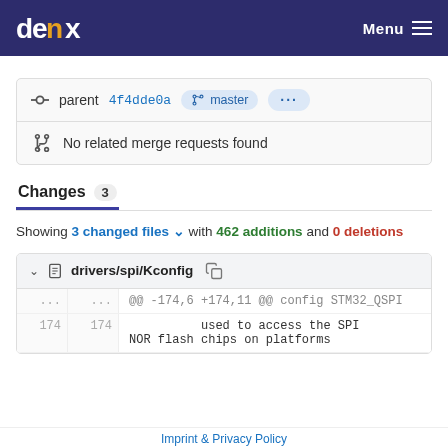denx | Menu
parent 4f4dde0a  master  ...
No related merge requests found
Changes 3
Showing 3 changed files with 462 additions and 0 deletions
drivers/spi/Kconfig
| old | new | code |
| --- | --- | --- |
| ... | ... | @@ -174,6 +174,11 @@ config STM32_QSPI |
| 174 | 174 |         used to access the SPI NOR flash chips on platforms |
Imprint & Privacy Policy